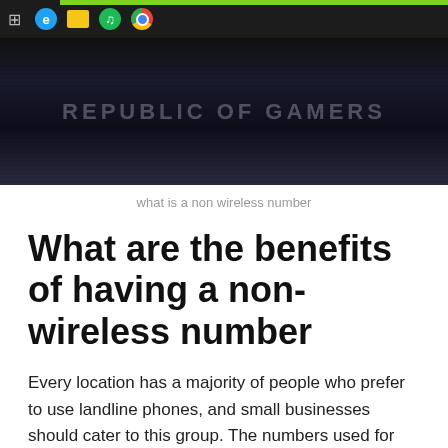[Figure (screenshot): Screenshot of a computer screen showing a taskbar at the top with browser and app icons (Edge, file explorer, Spotify, Chrome) against a dark/black wallpaper background displaying faint text 'REPUBLIC OF GAMERS']
what is a non wireless number
What are the benefits of having a non-wireless number
Every location has a majority of people who prefer to use landline phones, and small businesses should cater to this group. The numbers used for landline service are also less expensive than their VoIP alternatives. [source: Wikipedia]